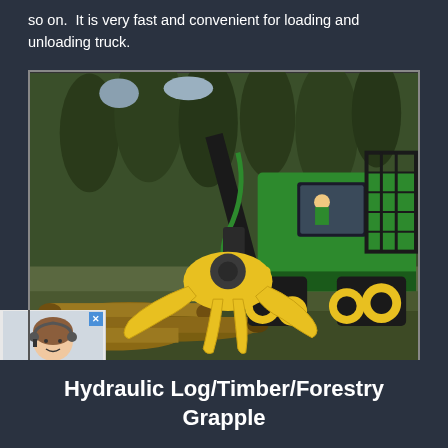so on. It is very fast and convenient for loading and unloading truck.
[Figure (photo): A green John Deere forestry machine with tracked wheels operating in a forest clearing, holding logs with a large yellow hydraulic grapple attachment. Pine trees visible in the background.]
Hydraulic Log/Timber/Forestry Grapple